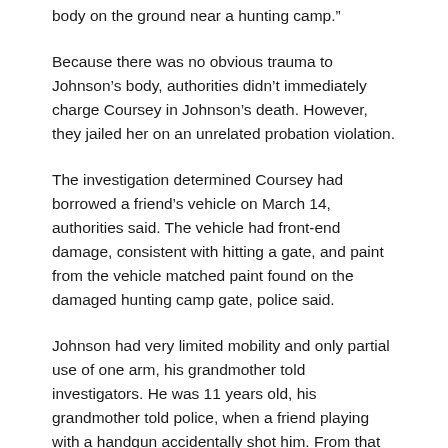body on the ground near a hunting camp.”
Because there was no obvious trauma to Johnson’s body, authorities didn’t immediately charge Coursey in Johnson’s death. However, they jailed her on an unrelated probation violation.
The investigation determined Coursey had borrowed a friend’s vehicle on March 14, authorities said. The vehicle had front-end damage, consistent with hitting a gate, and paint from the vehicle matched paint found on the damaged hunting camp gate, police said.
Johnson had very limited mobility and only partial use of one arm, his grandmother told investigators. He was 11 years old, his grandmother told police, when a friend playing with a handgun accidentally shot him. From that point on, Johnson was dependent on a wheelchair and the use of the arm, said his sheriff said.